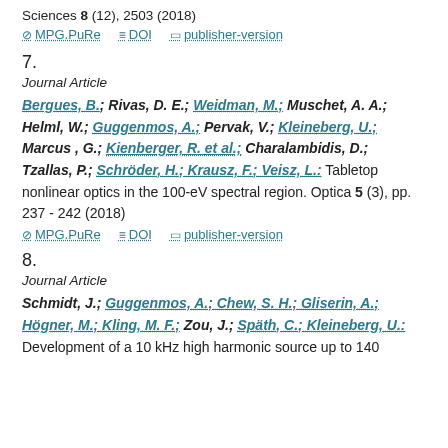Sciences 8 (12), 2503 (2018)
MPG.PuRe   DOI   publisher-version
7.
Journal Article
Bergues, B.; Rivas, D. E.; Weidman, M.; Muschet, A. A.; Helml, W.; Guggenmos, A.; Pervak, V.; Kleineberg, U.; Marcus , G.; Kienberger, R. et al.; Charalambidis, D.; Tzallas, P.; Schröder, H.; Krausz, F.; Veisz, L.: Tabletop nonlinear optics in the 100-eV spectral region. Optica 5 (3), pp. 237 - 242 (2018)
MPG.PuRe   DOI   publisher-version
8.
Journal Article
Schmidt, J.; Guggenmos, A.; Chew, S. H.; Gliserin, A.; Högner, M.; Kling, M. F.; Zou, J.; Späth, C.; Kleineberg, U.: Development of a 10 kHz high harmonic source up to 140